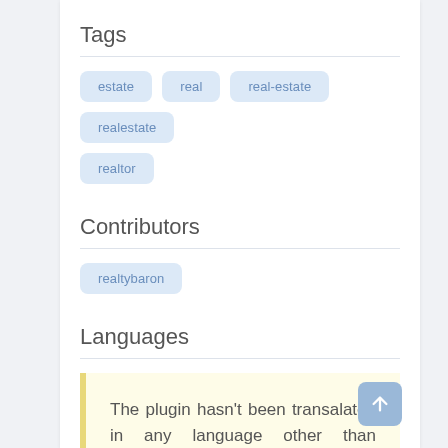Tags
estate
real
real-estate
realestate
realtor
Contributors
realtybaron
Languages
The plugin hasn't been transalated in any language other than English.